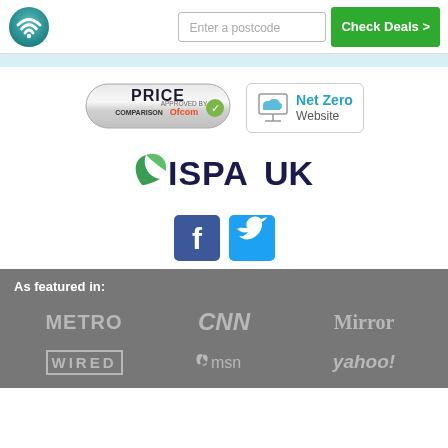[Figure (logo): WiFi/broadband comparison site logo - teal circle with wifi symbol]
Enter a postcode
Check Deals >
[Figure (logo): Price Comparison Approved by Ofcom badge]
[Figure (logo): Net Zero Website badge with monitor icon]
[Figure (logo): ISPA UK logo]
[Figure (logo): Facebook and Twitter social media icons]
As featured in:
[Figure (logo): Media logos: METRO, CNN, Mirror, WIRED, msn, yahoo!]